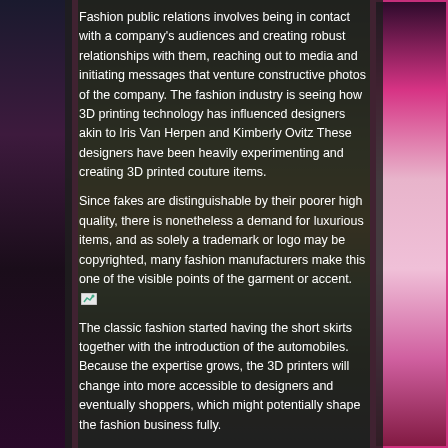[Figure (photo): Background collage of fashion models/women in stylish clothes — left panel shows woman in black outfit, center shows women in floral and yellow dress, right panel shows women in pink outfit. Pink/magenta border accents on sides.]
Fashion public relations involves being in contact with a company's audiences and creating robust relationships with them, reaching out to media and initiating messages that venture constructive photos of the company. The fashion industry is seeing how 3D printing technology has influenced designers akin to Iris Van Herpen and Kimberly Ovitz These designers have been heavily experimenting and creating 3D printed couture items.
Since fakes are distinguishable by their poorer high quality, there is nonetheless a demand for luxurious items, and as solely a trademark or logo may be copyrighted, many fashion manufacturers make this one of the visible points of the garment or accent.
The classic fashion started having the short skirts together with the introduction of the automobiles. Because the expertise grows, the 3D printers will change into more accessible to designers and eventually shoppers, which might potentially shape the fashion business fully.
fashion
| Tags: fashion, thing